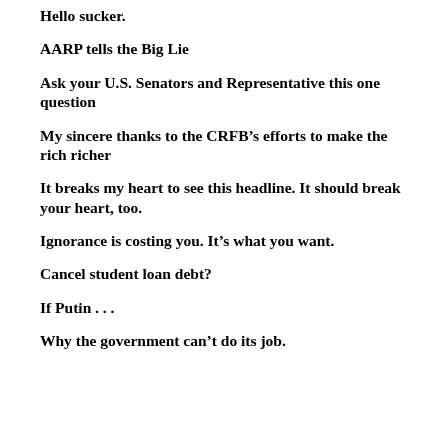Hello sucker.
AARP tells the Big Lie
Ask your U.S. Senators and Representative this one question
My sincere thanks to the CRFB’s efforts to make the rich richer
It breaks my heart to see this headline. It should break your heart, too.
Ignorance is costing you. It’s what you want.
Cancel student loan debt?
If Putin . . .
Why the government can’t do its job.